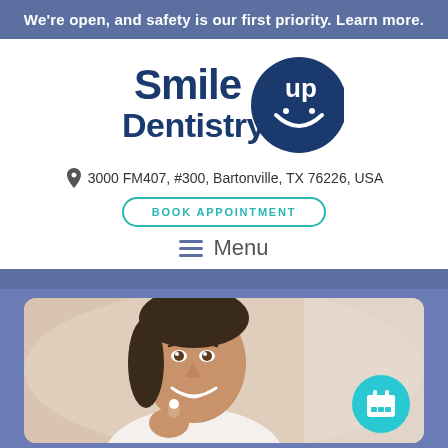We're open, and safety is our first priority. Learn more.
[Figure (logo): Smile Up Dentistry logo with dark blue circle containing a smile icon]
3000 FM407, #300, Bartonville, TX 76226, USA
BOOK APPOINTMENT
Menu
[Figure (photo): Smiling woman with dark hair holding something, with a teal calendar icon in the bottom right]
Call Now : (940) 333-3234